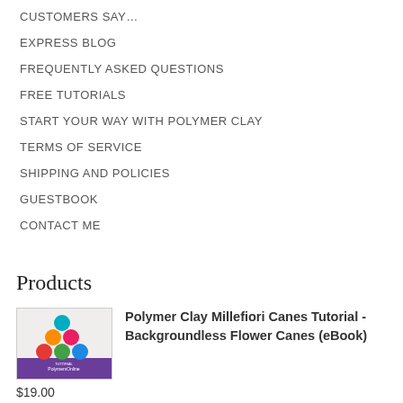CUSTOMERS SAY…
EXPRESS BLOG
FREQUENTLY ASKED QUESTIONS
FREE TUTORIALS
START YOUR WAY WITH POLYMER CLAY
TERMS OF SERVICE
SHIPPING AND POLICIES
GUESTBOOK
CONTACT ME
Products
[Figure (illustration): Book cover for Polymer Clay Millefiori Canes Tutorial - Backgroundless Flower Canes eBook, showing colorful clay canes arranged in a triangle on purple background]
Polymer Clay Millefiori Canes Tutorial - Backgroundless Flower Canes (eBook)
$19.00
[Figure (illustration): Book cover for Polymer Clay Millefiori Canes Tutorial - Center Flower Canes, showing colorful clay canes]
Polymer Clay Millefiori Canes Tutorial - Center Flower Canes